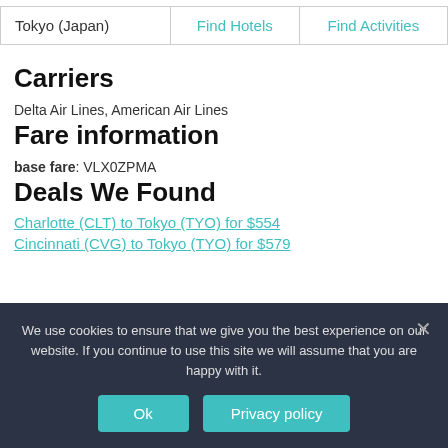| Tokyo (Japan) | Find Hotels | Find Activities |
| --- | --- | --- |
Carriers
Delta Air Lines, American Air Lines
Fare information
base fare: VLX0ZPMA
Deals We Found
Charlotte (CLT) to Tokyo (TYO) for $554
Cincinnati (CVG) to Tokyo (TYO) for $579
We use cookies to ensure that we give you the best experience on our website. If you continue to use this site we will assume that you are happy with it.